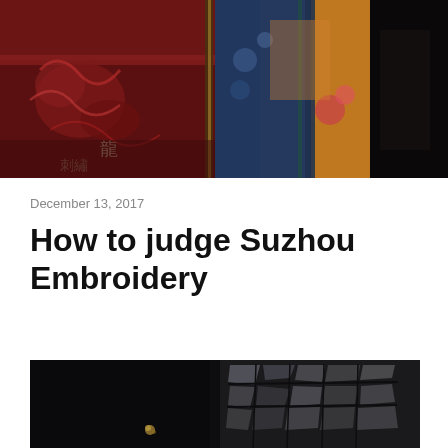[Figure (photo): Chinese embroidered robes and tapestries on display — red embroidered fabric with dragon motifs on the left, and colorful blue/orange robes with floral patterns on the right, against a dark background.]
December 13, 2017
How to judge Suzhou Embroidery
[Figure (photo): Dark artistic photograph showing a small embroidery or decorative object in the foreground with dramatic geometric shadow patterns cast on a wall in the background, predominantly dark tones with grey mosaic-like shadows.]